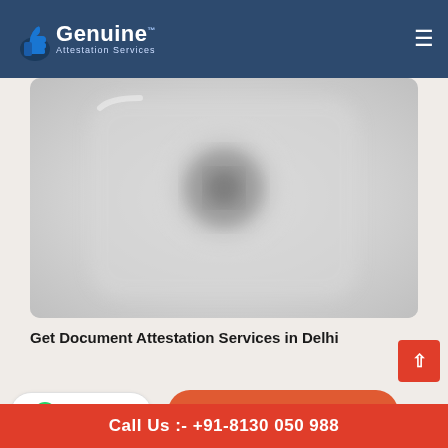[Figure (logo): Genuine Attestation Services logo with blue thumbs up icon and white text on dark blue header bar]
[Figure (photo): Blurred close-up photo of a mobile phone or device, showing a camera or stamp, in gray tones]
Get Document Attestation Services in Delhi
Dec 14, 2017
Chat Now
Call Us :- +91-8130 050 988